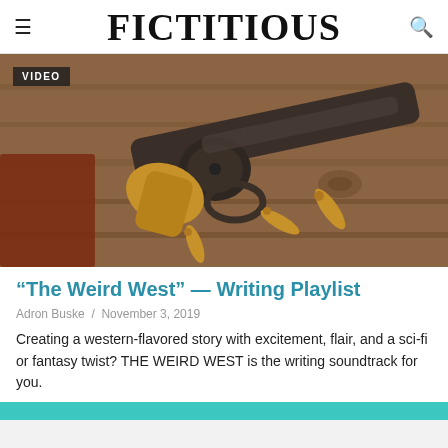FICTITIOUS
[Figure (photo): Overhead view of an antique brass and dark metal revolver with bullet casings scattered on a weathered wooden surface background. A VIDEO badge overlay is shown in the top-left corner of the image.]
“The Weird West” — Writing Playlist
Adron Buske / November 3, 2019
Creating a western-flavored story with excitement, flair, and a sci-fi or fantasy twist? THE WEIRD WEST is the writing soundtrack for you.